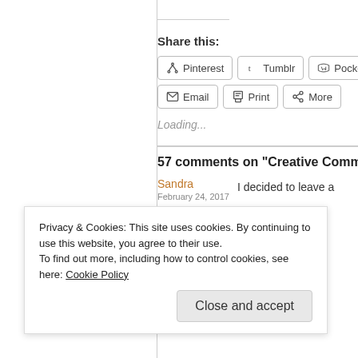Share this:
Pinterest  Tumblr  Pocket
Email  Print  More
Loading...
57 comments on “Creative Commons
Sandra
I decided to leave a
Privacy & Cookies: This site uses cookies. By continuing to use this website, you agree to their use.
To find out more, including how to control cookies, see here: Cookie Policy
Close and accept